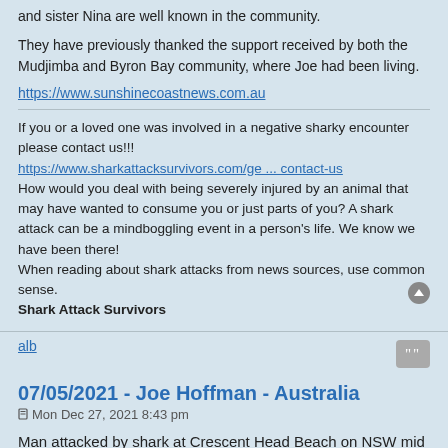and sister Nina are well known in the community.
They have previously thanked the support received by both the Mudjimba and Byron Bay community, where Joe had been living.
https://www.sunshinecoastnews.com.au
If you or a loved one was involved in a negative sharky encounter please contact us!!! https://www.sharkattacksurvivors.com/ge ... contact-us How would you deal with being severely injured by an animal that may have wanted to consume you or just parts of you? A shark attack can be a mindboggling event in a person's life. We know we have been there! When reading about shark attacks from news sources, use common sense. Shark Attack Survivors
alb
07/05/2021 - Joe Hoffman - Australia
Mon Dec 27, 2021 8:43 pm
Man attacked by shark at Crescent Head Beach on NSW mid north coast
A man has suffered ‘significant’ injuries after being mauled by a shark while he was surfing at a beach on the mid north coast of NSW.